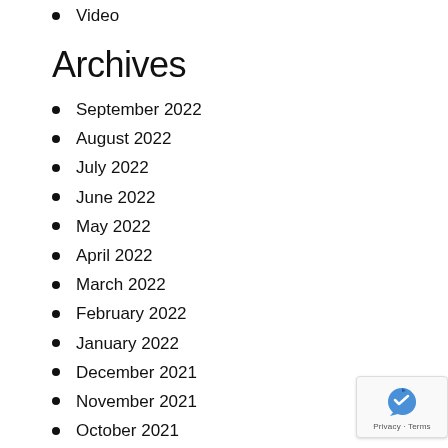Video
Archives
September 2022
August 2022
July 2022
June 2022
May 2022
April 2022
March 2022
February 2022
January 2022
December 2021
November 2021
October 2021